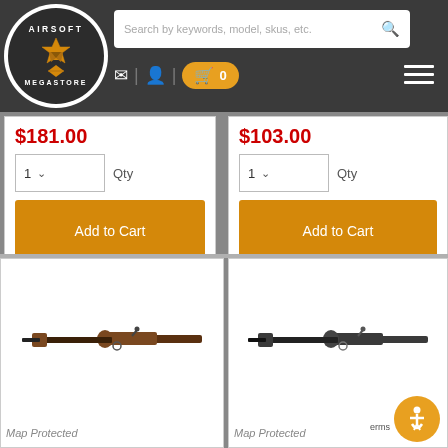[Figure (logo): Airsoft Megastore logo - circular badge with star]
Search by keywords, model, skus, etc.
$181.00
1  Qty
Add to Cart
$103.00
1  Qty
Add to Cart
[Figure (photo): Airsoft bolt-action rifle with brown wood stock]
Map Protected
[Figure (photo): Airsoft bolt-action rifle with black synthetic stock]
Map Protected